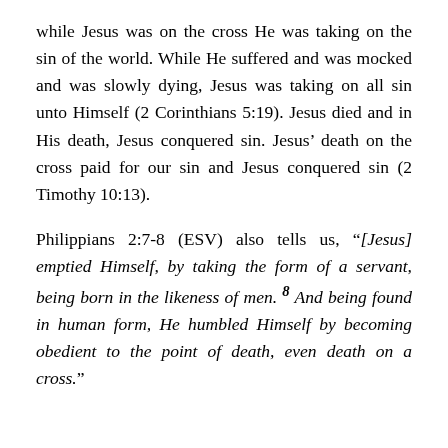while Jesus was on the cross He was taking on the sin of the world. While He suffered and was mocked and was slowly dying, Jesus was taking on all sin unto Himself (2 Corinthians 5:19). Jesus died and in His death, Jesus conquered sin. Jesus' death on the cross paid for our sin and Jesus conquered sin (2 Timothy 10:13).
Philippians 2:7-8 (ESV) also tells us, "[Jesus] emptied Himself, by taking the form of a servant, being born in the likeness of men. 8 And being found in human form, He humbled Himself by becoming obedient to the point of death, even death on a cross."